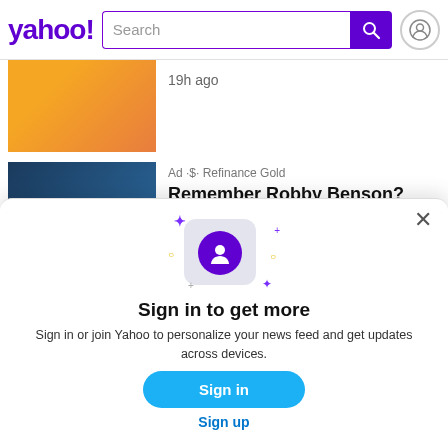yahoo! Search
19h ago
Ad · Refinance Gold
Remember Robby Benson?
[Figure (screenshot): Yahoo sign-in modal overlay with profile icon on phone card graphic, sparkles, 'Sign in to get more' title, description text, Sign in button, and Sign up link]
Sign in to get more
Sign in or join Yahoo to personalize your news feed and get updates across devices.